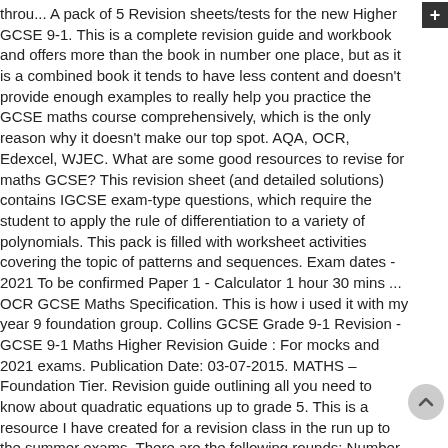throu... A pack of 5 Revision sheets/tests for the new Higher GCSE 9-1. This is a complete revision guide and workbook and offers more than the book in number one place, but as it is a combined book it tends to have less content and doesn't provide enough examples to really help you practice the GCSE maths course comprehensively, which is the only reason why it doesn't make our top spot. AQA, OCR, Edexcel, WJEC. What are some good resources to revise for maths GCSE? This revision sheet (and detailed solutions) contains IGCSE exam-type questions, which require the student to apply the rule of differentiation to a variety of polynomials. This pack is filled with worksheet activities covering the topic of patterns and sequences. Exam dates - 2021 To be confirmed Paper 1 - Calculator 1 hour 30 mins ... OCR GCSE Maths Specification. This is how i used it with my year 9 foundation group. Collins GCSE Grade 9-1 Revision - GCSE 9-1 Maths Higher Revision Guide : For mocks and 2021 exams. Publication Date: 03-07-2015. MATHS – Foundation Tier. Revision guide outlining all you need to know about quadratic equations up to grade 5. This is a resource I have created for a revision class in the run up to the summer exams. There are the following rounds: Number, Algebra, Shape and Space, Date Handling, Using and Applying. Based on the CGP revision guide by CGP for the edexcel iGCSE. I usually print these qu... A pack of 5 Revision sheets/tests for the new Higher GCSE 9-1, registered